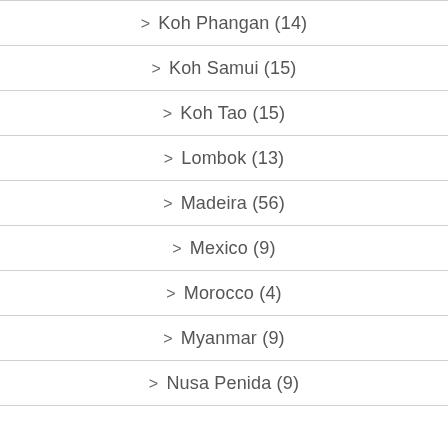> Koh Phangan (14)
> Koh Samui (15)
> Koh Tao (15)
> Lombok (13)
> Madeira (56)
> Mexico (9)
> Morocco (4)
> Myanmar (9)
> Nusa Penida (9)